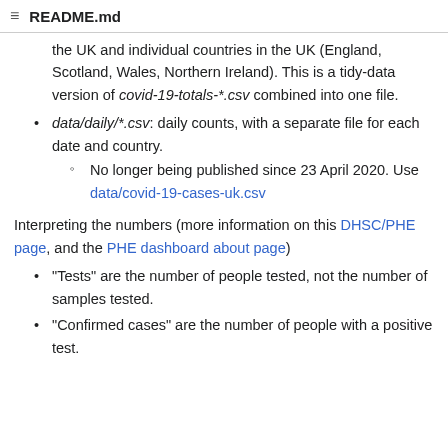README.md
the UK and individual countries in the UK (England, Scotland, Wales, Northern Ireland). This is a tidy-data version of covid-19-totals-*.csv combined into one file.
data/daily/*.csv: daily counts, with a separate file for each date and country.
No longer being published since 23 April 2020. Use data/covid-19-cases-uk.csv
Interpreting the numbers (more information on this DHSC/PHE page, and the PHE dashboard about page)
"Tests" are the number of people tested, not the number of samples tested.
"Confirmed cases" are the number of people with a positive test.